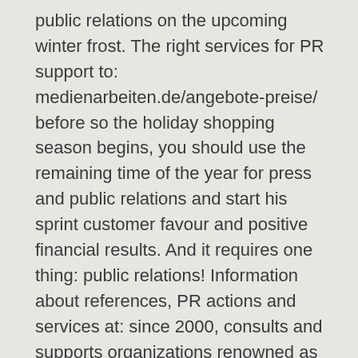public relations on the upcoming winter frost. The right services for PR support to: medienarbeiten.de/angebote-preise/ before so the holiday shopping season begins, you should use the remaining time of the year for press and public relations and start his sprint customer favour and positive financial results. And it requires one thing: public relations! Information about references, PR actions and services at: since 2000, consults and supports organizations renowned as owner-operated full-service PR agency / company and their products in the B2B and B2C communication Medienarbeiten.de. Medienarbeiten.de offers in addition to the core competencies of strategic consulting, classical press work and guerilla PR campaigns involving external network partners on the entire portfolio of contemporary PR tools.